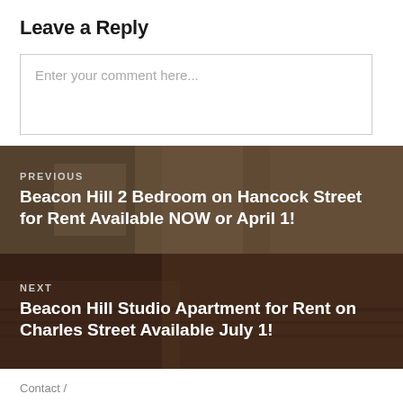Leave a Reply
Enter your comment here...
[Figure (photo): Navigation block: Previous post - interior apartment room with fireplace background image. Text overlay: PREVIOUS / Beacon Hill 2 Bedroom on Hancock Street for Rent Available NOW or April 1!]
[Figure (photo): Navigation block: Next post - exterior brick building background image. Text overlay: NEXT / Beacon Hill Studio Apartment for Rent on Charles Street Available July 1!]
Contact  /